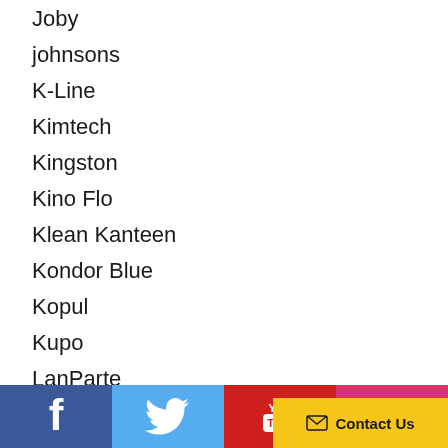Joby
johnsons
K-Line
Kimtech
Kingston
Kino Flo
Klean Kanteen
Kondor Blue
Kopul
Kupo
LanParte
[Figure (other): Social media footer bar with Facebook (blue), Twitter (light blue), YouTube (red), Instagram (pink/red) icons, and a yellow Contact Us button with envelope icon]